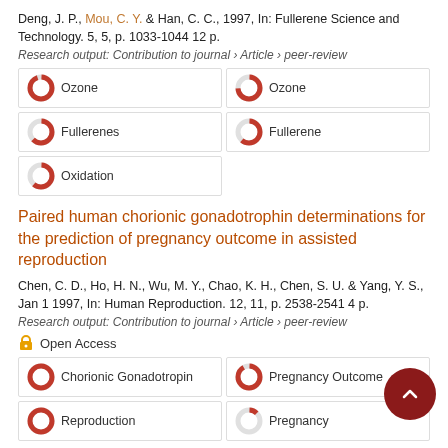Deng, J. P., Mou, C. Y. & Han, C. C., 1997, In: Fullerene Science and Technology. 5, 5, p. 1033-1044 12 p.
Research output: Contribution to journal › Article › peer-review
[Figure (infographic): Keyword badges grid: Ozone ~100%, Ozone ~75%, Fullerenes ~65%, Fullerene ~62%, Oxidation ~62%]
Paired human chorionic gonadotrophin determinations for the prediction of pregnancy outcome in assisted reproduction
Chen, C. D., Ho, H. N., Wu, M. Y., Chao, K. H., Chen, S. U. & Yang, Y. S., Jan 1 1997, In: Human Reproduction. 12, 11, p. 2538-2541 4 p.
Research output: Contribution to journal › Article › peer-review
Open Access
[Figure (infographic): Keyword badges: Chorionic Gonadotropin ~100%, Pregnancy Outcome ~90%, Reproduction ~100%, Pregnancy ~12%]